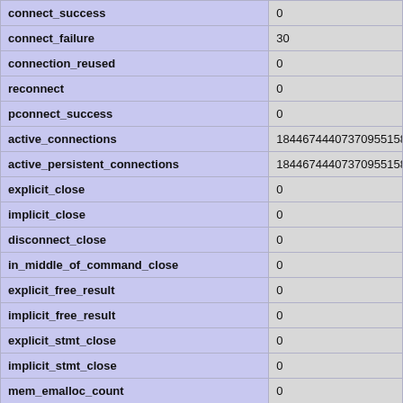| Metric | Value |
| --- | --- |
| connect_success | 0 |
| connect_failure | 30 |
| connection_reused | 0 |
| reconnect | 0 |
| pconnect_success | 0 |
| active_connections | 18446744407370955158 |
| active_persistent_connections | 18446744407370955158 |
| explicit_close | 0 |
| implicit_close | 0 |
| disconnect_close | 0 |
| in_middle_of_command_close | 0 |
| explicit_free_result | 0 |
| implicit_free_result | 0 |
| explicit_stmt_close | 0 |
| implicit_stmt_close | 0 |
| mem_emalloc_count | 0 |
| mem_emalloc_amount | 0 |
| mem_ecalloc_count | 0 |
| mem_ecalloc_amount | 0 |
| mem_erealloc_count | 0 |